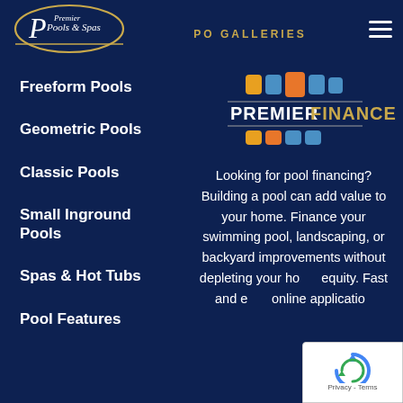[Figure (logo): Premier Pools & Spas logo in gold oval, white italic text]
PO GALLERIES
Freeform Pools
Geometric Pools
Classic Pools
Small Inground Pools
Spas & Hot Tubs
Pool Features
[Figure (logo): Premier Finance logo with colorful rectangular blocks above text PREMIERFINANCE]
Looking for pool financing? Building a pool can add value to your home. Finance your swimming pool, landscaping, or backyard improvements without depleting your home equity. Fast and easy online application